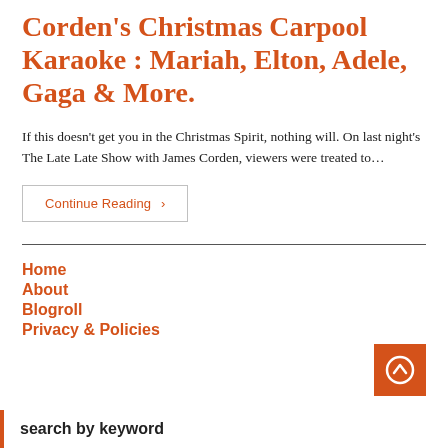Corden's Christmas Carpool Karaoke : Mariah, Elton, Adele, Gaga & More.
If this doesn't get you in the Christmas Spirit, nothing will. On last night's The Late Late Show with James Corden, viewers were treated to…
Continue Reading ›
Home
About
Blogroll
Privacy & Policies
search by keyword